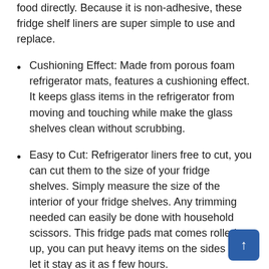food directly. Because it is non-adhesive, these fridge shelf liners are super simple to use and replace.
Cushioning Effect: Made from porous foam refrigerator mats, features a cushioning effect. It keeps glass items in the refrigerator from moving and touching while make the glass shelves clean without scrubbing.
Easy to Cut: Refrigerator liners free to cut, you can cut them to the size of your fridge shelves. Simply measure the size of the interior of your fridge shelves. Any trimming needed can easily be done with household scissors. This fridge pads mat comes rolled up, you can put heavy items on the sides and let it stay as it as f… few hours.